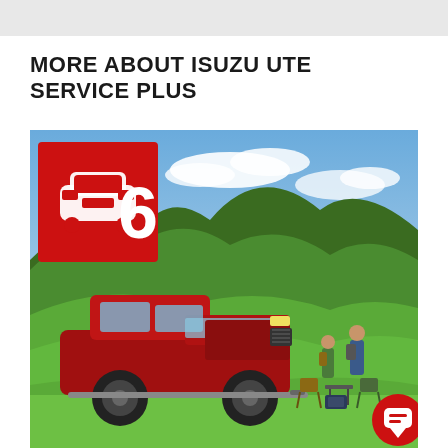MORE ABOUT ISUZU UTE SERVICE PLUS
[Figure (photo): Red Isuzu D-Max pickup truck parked on green grass with scenic mountain landscape in the background. A red square badge with a car icon and the number 6 is overlaid in the top-left of the image. Two people with backpacks and camping chairs/table are visible to the right. A red chat button is in the bottom-right corner.]